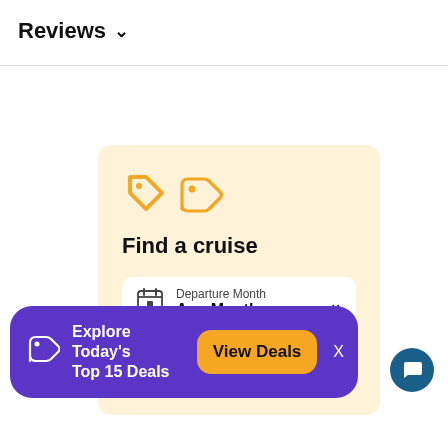Reviews ∨
[Figure (screenshot): Find a cruise widget with orange price tag icon, departure month dropdown set to Any Month, and an orange search button, on a light yellow background card]
[Figure (infographic): Purple promotional banner: tag icon, Explore Today's Top 15 Deals text, orange View Deals button, X close button]
[Figure (other): Dark blue circular chat support button with speech bubble icon]